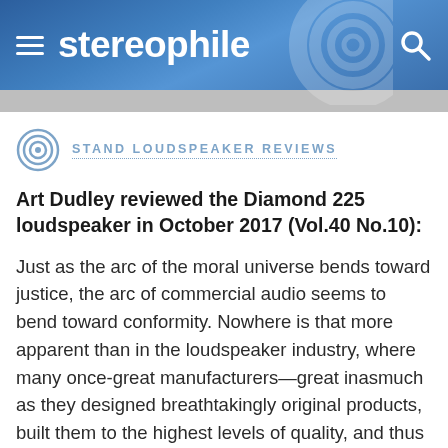stereophile
STAND LOUDSPEAKER REVIEWS
Art Dudley reviewed the Diamond 225 loudspeaker in October 2017 (Vol.40 No.10):
Just as the arc of the moral universe bends toward justice, the arc of commercial audio seems to bend toward conformity. Nowhere is that more apparent than in the loudspeaker industry, where many once-great manufacturers—great inasmuch as they designed breathtakingly original products, built them to the highest levels of quality, and thus created not only community jobs but also a justification, other